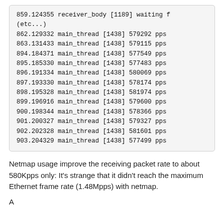859.124355 receiver_body [1189] waiting f
(etc...)
862.129332 main_thread [1438] 579292 pps
863.131433 main_thread [1438] 579115 pps
894.184371 main_thread [1438] 577549 pps
895.185330 main_thread [1438] 577483 pps
896.191334 main_thread [1438] 580069 pps
897.193330 main_thread [1438] 578174 pps
898.195328 main_thread [1438] 581974 pps
899.196916 main_thread [1438] 579600 pps
900.198344 main_thread [1438] 578366 pps
901.200327 main_thread [1438] 579327 pps
902.202328 main_thread [1438] 581601 pps
903.204329 main_thread [1438] 577499 pps
Netmap usage improve the receiving packet rate to about 580Kpps only: It's strange that it didn't reach the maximum Ethernet frame rate (1.48Mpps) with netmap.